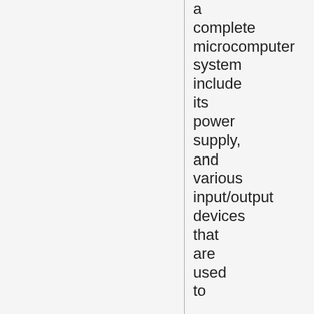a complete microcomputer system include its power supply, and various input/output devices that are used to